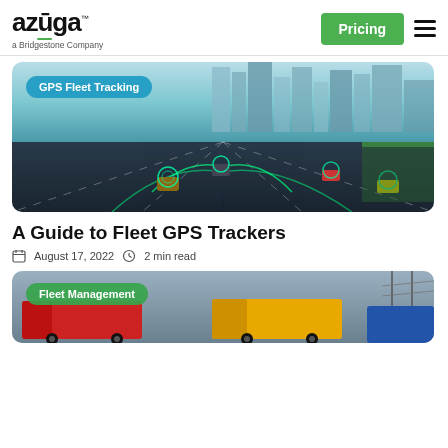azuga™ a Bridgestone Company | Pricing | Menu
[Figure (photo): GPS Fleet Tracking hero image showing a highway with vehicles tracked by green GPS signal overlays and a cityscape background]
A Guide to Fleet GPS Trackers
August 17, 2022  2 min read
[Figure (photo): Fleet Management hero image showing colorful semi-trucks parked under a cloudy sky]